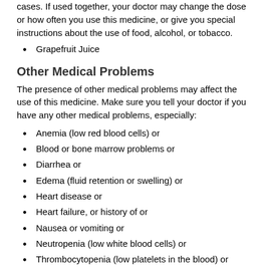cases. If used together, your doctor may change the dose or how often you use this medicine, or give you special instructions about the use of food, alcohol, or tobacco.
Grapefruit Juice
Other Medical Problems
The presence of other medical problems may affect the use of this medicine. Make sure you tell your doctor if you have any other medical problems, especially:
Anemia (low red blood cells) or
Blood or bone marrow problems or
Diarrhea or
Edema (fluid retention or swelling) or
Heart disease or
Heart failure, or history of or
Nausea or vomiting or
Neutropenia (low white blood cells) or
Thrombocytopenia (low platelets in the blood) or